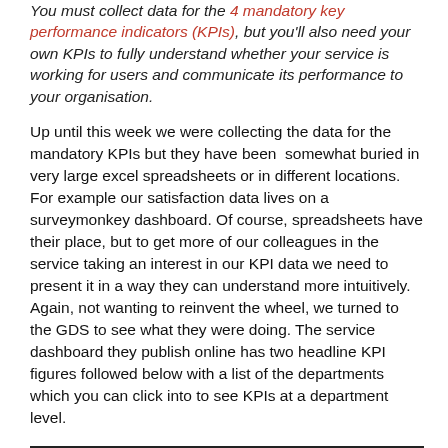You must collect data for the 4 mandatory key performance indicators (KPIs), but you'll also need your own KPIs to fully understand whether your service is working for users and communicate its performance to your organisation.
Up until this week we were collecting the data for the mandatory KPIs but they have been somewhat buried in very large excel spreadsheets or in different locations. For example our satisfaction data lives on a surveymonkey dashboard. Of course, spreadsheets have their place, but to get more of our colleagues in the service taking an interest in our KPI data we need to present it in a way they can understand more intuitively. Again, not wanting to reinvent the wheel, we turned to the GDS to see what they were doing. The service dashboard they publish online has two headline KPI figures followed below with a list of the departments which you can click into to see KPIs at a department level.